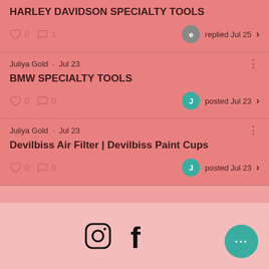HARLEY DAVIDSON SPECIALTY TOOLS
0 likes · 1 comment · replied Jul 25
Juliya Gold · Jul 23
BMW SPECIALTY TOOLS
0 likes · 0 comments · posted Jul 23
Juliya Gold · Jul 23
Devilbiss Air Filter | Devilbiss Paint Cups
0 likes · 0 comments · posted Jul 23
[Figure (infographic): Social media footer with Instagram and Facebook icons and a teal floating action button with three dots]